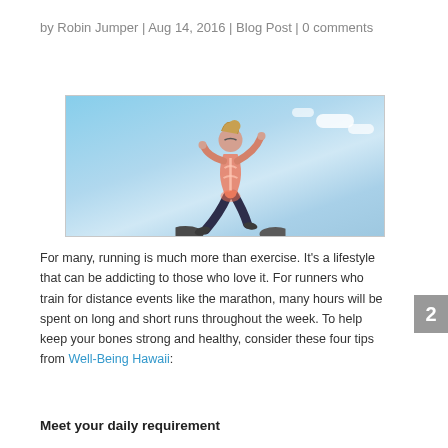by Robin Jumper | Aug 14, 2016 | Blog Post | 0 comments
[Figure (photo): A woman runner mid-stride against a blue sky with clouds, wearing athletic gear with a pink/orange overlay highlighting her skeletal structure]
For many, running is much more than exercise. It's a lifestyle that can be addicting to those who love it. For runners who train for distance events like the marathon, many hours will be spent on long and short runs throughout the week. To help keep your bones strong and healthy, consider these four tips from Well-Being Hawaii:
Meet your daily requirement